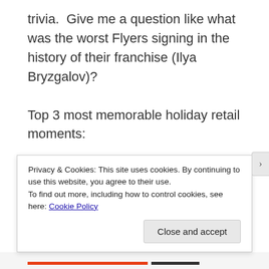trivia. Give me a question like what was the worst Flyers signing in the history of their franchise (Ilya Bryzgalov)?
Top 3 most memorable holiday retail moments:
3) After a busy day at work one of the managers comes out and tells me to check the guy's washroom (with a huge grin on his face).
Privacy & Cookies: This site uses cookies. By continuing to use this website, you agree to their use.
To find out more, including how to control cookies, see here: Cookie Policy